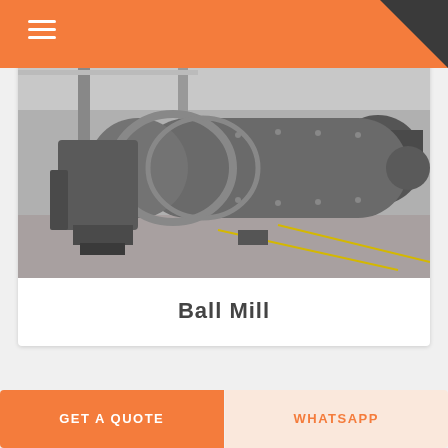[Figure (photo): Industrial ball mill machine — large horizontal cylindrical grey grinding mill with flanged ends, shown in a factory/warehouse setting with concrete floor and industrial structure in background.]
Ball Mill
GET A QUOTE
WHATSAPP